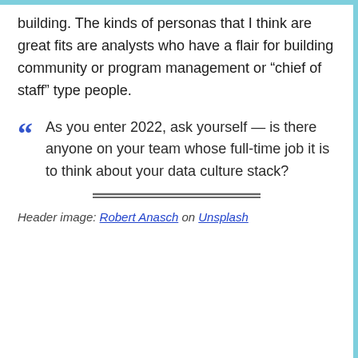building. The kinds of personas that I think are great fits are analysts who have a flair for building community or program management or “chief of staff” type people.
“” As you enter 2022, ask yourself — is there anyone on your team whose full-time job it is to think about your data culture stack?
Header image: Robert Anasch on Unsplash